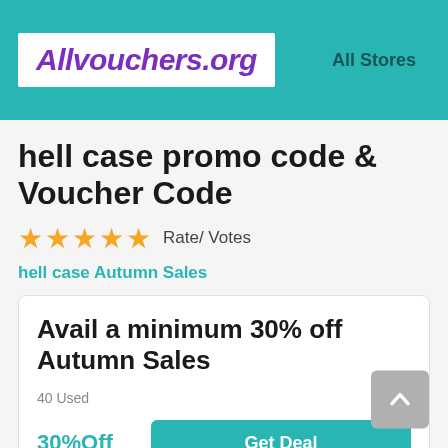Allvouchers.org — All Stores
hell case promo code & Voucher Code
★★★★★  Rate/ Votes
hell case Autumn Sales
Avail a minimum 30% off Autumn Sales
40 Used
30%Off
Get Deal